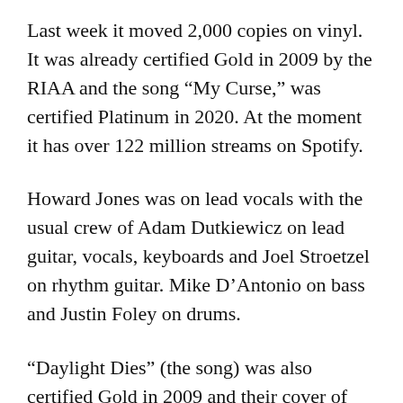Last week it moved 2,000 copies on vinyl. It was already certified Gold in 2009 by the RIAA and the song “My Curse,” was certified Platinum in 2020. At the moment it has over 122 million streams on Spotify.
Howard Jones was on lead vocals with the usual crew of Adam Dutkiewicz on lead guitar, vocals, keyboards and Joel Stroetzel on rhythm guitar. Mike D’Antonio on bass and Justin Foley on drums.
“Daylight Dies” (the song) was also certified Gold in 2009 and their cover of “Holy Diver” was certified